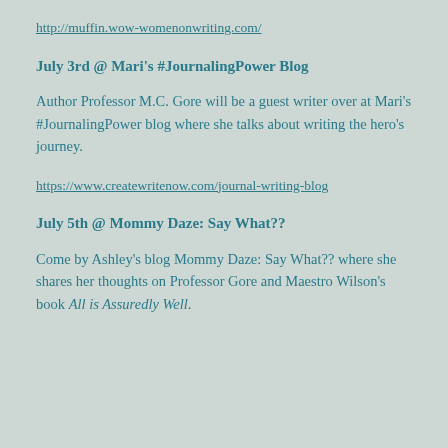http://muffin.wow-womenonwriting.com/
July 3rd @ Mari’s #JournalingPower Blog
Author Professor M.C. Gore will be a guest writer over at Mari’s #JournalingPower blog where she talks about writing the hero’s journey.
https://www.createwritenow.com/journal-writing-blog
July 5th @ Mommy Daze: Say What??
Come by Ashley’s blog Mommy Daze: Say What?? where she shares her thoughts on Professor Gore and Maestro Wilson’s book All is Assuredly Well.